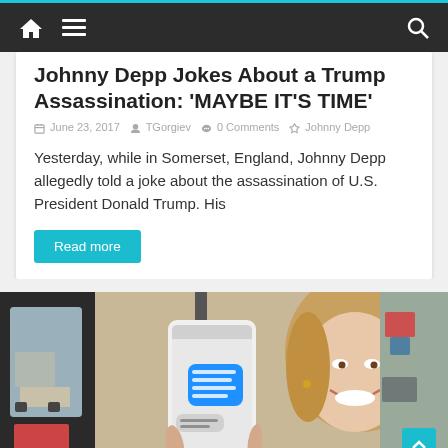Navigation bar with home, menu, and search icons
Johnny Depp Jokes About a Trump Assassination: 'MAYBE IT'S TIME'
June 23, 2017  TGorgiev  0 Comments  Johnny Depp
Yesterday, while in Somerset, England, Johnny Depp allegedly told a joke about the assassination of U.S. President Donald Trump. His
Read more
[Figure (photo): Woman in a car holding a smartphone showing a text message conversation, smiling at camera]